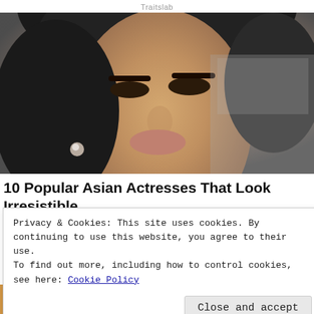Traitslab
[Figure (photo): Close-up portrait photo of a woman with dark hair, heavy eye makeup, and large lips, wearing sparkly earrings, looking upward against a grey background.]
10 Popular Asian Actresses That Look Irresistible
Brainberries
Privacy & Cookies: This site uses cookies. By continuing to use this website, you agree to their use.
To find out more, including how to control cookies, see here: Cookie Policy
Close and accept
[Figure (photo): Bottom strip showing two partial thumbnail photos side by side.]